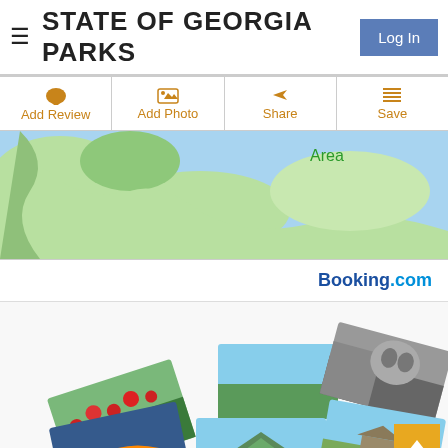STATE OF GEORGIA PARKS
Log In
Add Review
Add Photo
Share
Save
[Figure (map): Map showing a geographic area with green land and blue water, labeled 'Area']
Booking.com
[Figure (photo): Collage of nature and landscape photos arranged in a fan/carousel style, including flower fields, green meadows, mountain scenes, horses with rainbow, and alpine landscapes]